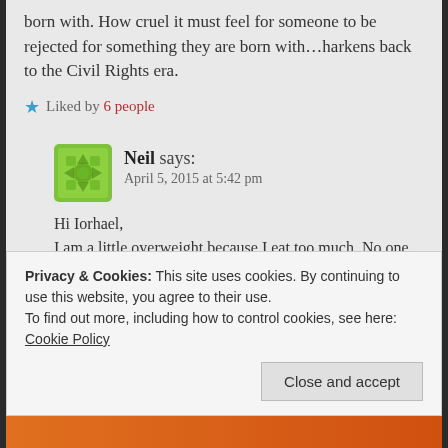born with. How cruel it must feel for someone to be rejected for something they are born with…harkens back to the Civil Rights era.
★ Liked by 6 people
Neil says: April 5, 2015 at 5:42 pm
Hi Iorhael, I am a little overweight because I eat too much. No one in church has ever told me I need to control my weight. I've never heard anyone
Privacy & Cookies: This site uses cookies. By continuing to use this website, you agree to their use. To find out more, including how to control cookies, see here: Cookie Policy
Close and accept